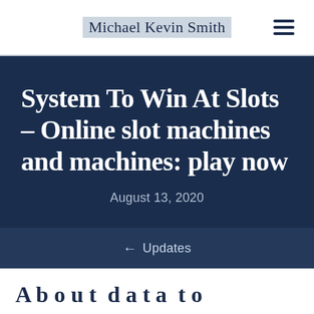Michael Kevin Smith
System To Win At Slots – Online slot machines and machines: play now
August 13, 2020
← Updates
A b o u t d a t a t o...